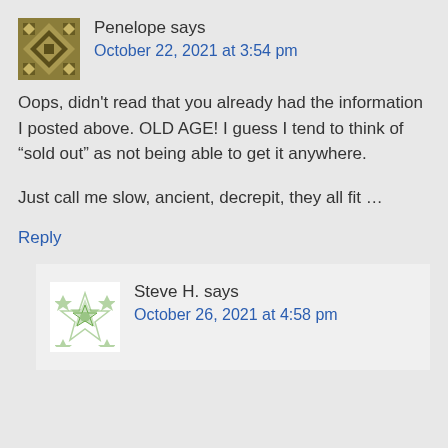Penelope says
October 22, 2021 at 3:54 pm
Oops, didn't read that you already had the information I posted above. OLD AGE! I guess I tend to think of “sold out” as not being able to get it anywhere.

Just call me slow, ancient, decrepit, they all fit …
Reply
Steve H. says
October 26, 2021 at 4:58 pm